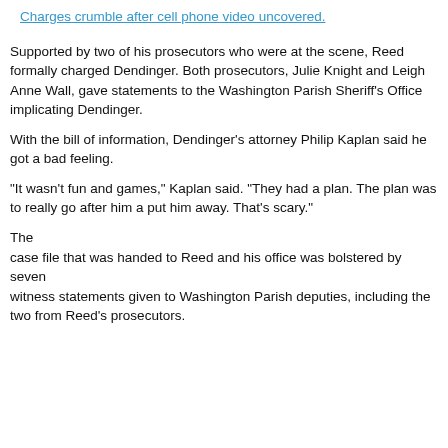Charges crumble after cell phone video uncovered.
Supported by two of his prosecutors who were at the scene, Reed formally charged Dendinger. Both prosecutors, Julie Knight and Leigh Anne Wall, gave statements to the Washington Parish Sheriff's Office implicating Dendinger.
With the bill of information, Dendinger's attorney Philip Kaplan said he got a bad feeling.
"It wasn't fun and games," Kaplan said. "They had a plan. The plan was to really go after him a put him away. That's scary."
The case file that was handed to Reed and his office was bolstered by seven witness statements given to Washington Parish deputies, including the two from Reed's prosecutors.